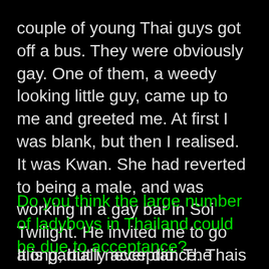couple of young Thai guys got off a bus. They were obviously gay. One of them, a weedy looking little guy, came up to me and greeted me. At first I was blank, but then I realised. It was Kwan. She had reverted to being a male, and was working in a gay bar in Soi Twilight. He invited me to go along, but I never did. The sexual heat had totally gone.
Do you think the large number of ladyboys in Thailand could be due to acceptance?
It is partially acceptance. Thais seem to think it happens because of something they have done in a previous life. They are paying back the bad karma in a previous existence and everyone accepts it. Some of them come from broken homes. They see their father being unemployable, drunk, useless and